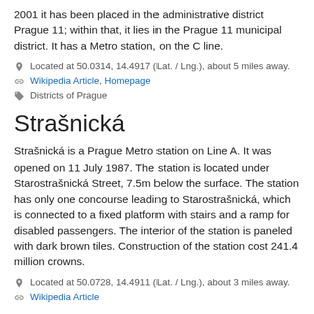2001 it has been placed in the administrative district Prague 11; within that, it lies in the Prague 11 municipal district. It has a Metro station, on the C line.
Located at 50.0314, 14.4917 (Lat. / Lng.), about 5 miles away.
Wikipedia Article, Homepage
Districts of Prague
Strašnická
Strašnická is a Prague Metro station on Line A. It was opened on 11 July 1987. The station is located under Starostrašnická Street, 7.5m below the surface. The station has only one concourse leading to Starostrašnická, which is connected to a fixed platform with stairs and a ramp for disabled passengers. The interior of the station is paneled with dark brown tiles. Construction of the station cost 241.4 million crowns.
Located at 50.0728, 14.4911 (Lat. / Lng.), about 3 miles away.
Wikipedia Article